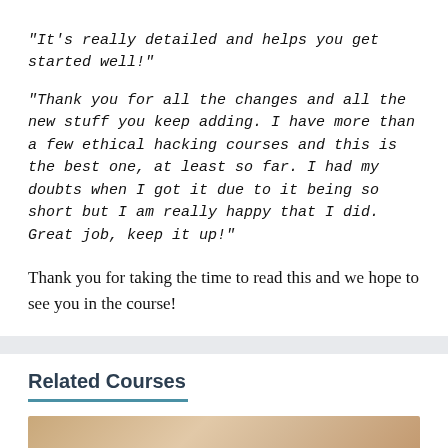"It's really detailed and helps you get started well!"
"Thank you for all the changes and all the new stuff you keep adding. I have more than a few ethical hacking courses and this is the best one, at least so far. I had my doubts when I got it due to it being so short but I am really happy that I did. Great job, keep it up!"
Thank you for taking the time to read this and we hope to see you in the course!
Related Courses
[Figure (photo): Partial view of a course thumbnail image at the bottom of the page]